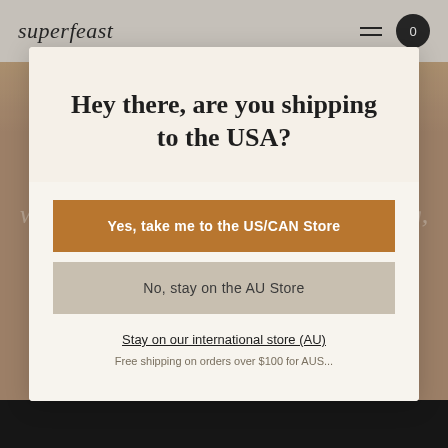superfeast
Hey there, are you shipping to the USA?
Yes, take me to the US/CAN Store
No, stay on the AU Store
Stay on our international store (AU)
Free shipping on orders over $100 for AUS...
Back to All